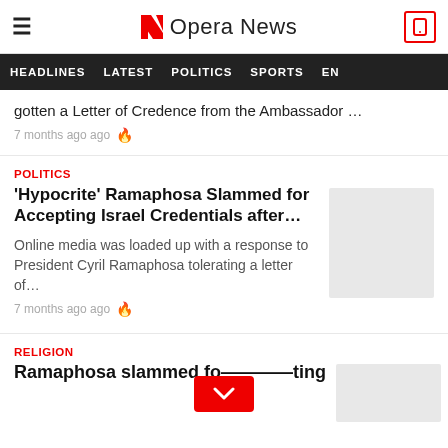Opera News
HEADLINES  LATEST  POLITICS  SPORTS  EN
gotten a Letter of Credence from the Ambassador …
7 months ago ago
POLITICS
'Hypocrite' Ramaphosa Slammed for Accepting Israel Credentials after…
Online media was loaded up with a response to President Cyril Ramaphosa tolerating a letter of…
7 months ago ago
RELIGION
Ramaphosa slammed fo...ting